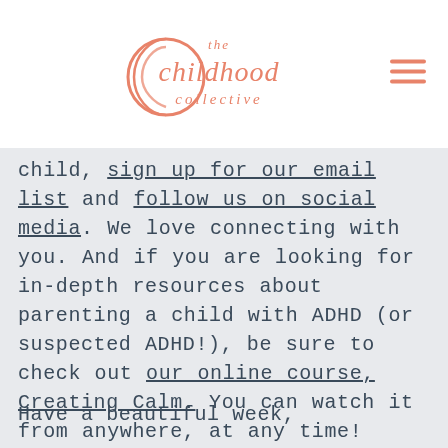the childhood collective
child, sign up for our email list and follow us on social media. We love connecting with you. And if you are looking for in-depth resources about parenting a child with ADHD (or suspected ADHD!), be sure to check out our online course, Creating Calm. You can watch it from anywhere, at any time!
Have a beautiful week,